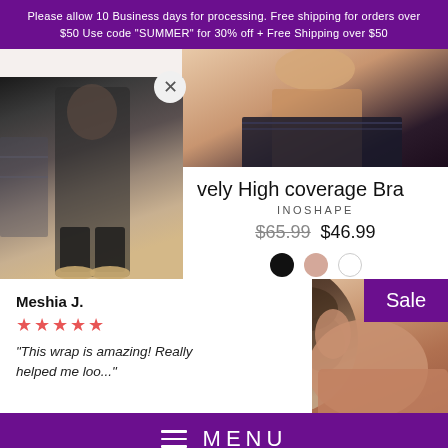Please allow 10 Business days for processing. Free shipping for orders over $50 Use code "SUMMER" for 30% off + Free Shipping over $50
[Figure (photo): Top portion of model wearing black lace bra, torso visible]
[Figure (photo): Left side: woman in black outfit standing in gym/store mirror selfie]
vely High coverage Bra
INOSHAPE
$65.99  $46.99
Meshia J.
★★★★★
"This wrap is amazing! Really helped me loo..."
Get Snatched Wrap
[Figure (photo): Model with curly hair showing back/shoulder, skin tone visible]
Sale
≡  MENU